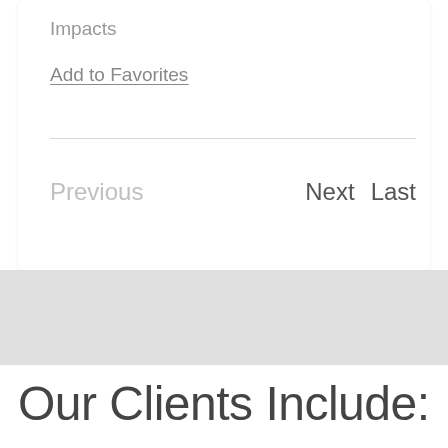Impacts
Add to Favorites
Previous   Next  Last
Our Clients Include: